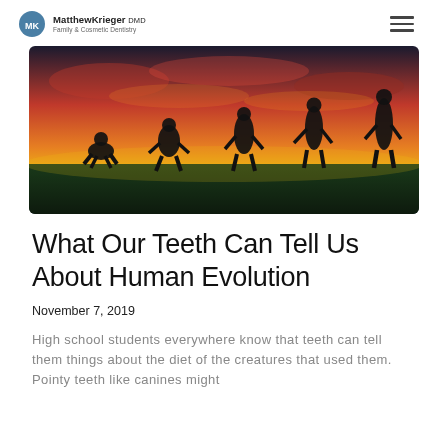MatthewKrieger DMD - Family & Cosmetic Dentistry
[Figure (photo): Silhouettes of human evolution stages walking across a field against a dramatic golden sunset sky, showing the progression from ape to upright human.]
What Our Teeth Can Tell Us About Human Evolution
November 7, 2019
High school students everywhere know that teeth can tell them things about the diet of the creatures that used them. Pointy teeth like canines might